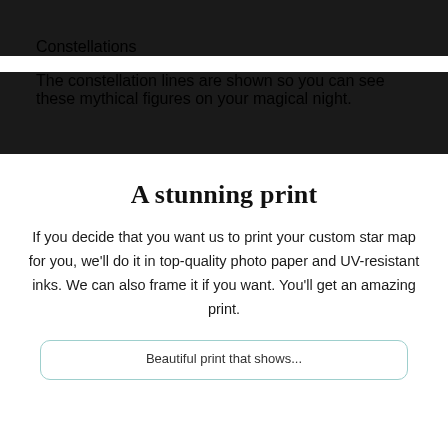Constellations
The constellation lines are shown so you can see these mythical figures on your magical night.
A stunning print
If you decide that you want us to print your custom star map for you, we'll do it in top-quality photo paper and UV-resistant inks. We can also frame it if you want. You'll get an amazing print.
Beautiful print that shows...